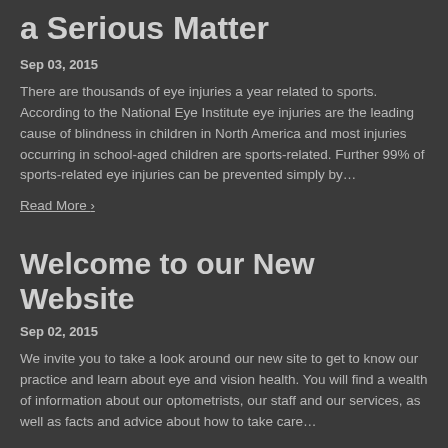a Serious Matter
Sep 03, 2015
There are thousands of eye injuries a year related to sports. According to the National Eye Institute eye injuries are the leading cause of blindness in children in North America and most injuries occurring in school-aged children are sports-related. Further 99% of sports-related eye injuries can be prevented simply by…
Read More ›
Welcome to our New Website
Sep 02, 2015
We invite you to take a look around our new site to get to know our practice and learn about eye and vision health. You will find a wealth of information about our optometrists, our staff and our services, as well as facts and advice about how to take care…